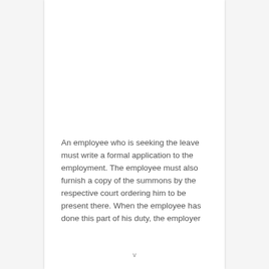An employee who is seeking the leave must write a formal application to the employment. The employee must also furnish a copy of the summons by the respective court ordering him to be present there. When the employee has done this part of his duty, the employer
v